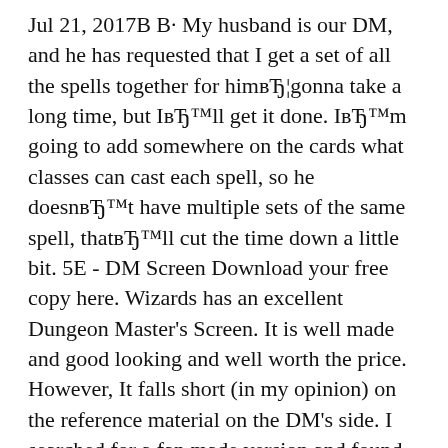Jul 21, 2017В В· My husband is our DM, and he has requested that I get a set of all the spells together for himвЂ¦gonna take a long time, but IвЂ™ll get it done. IвЂ™m going to add somewhere on the cards what classes can cast each spell, so he doesnвЂ™t have multiple sets of the same spell, thatвЂ™ll cut the time down a little bit. 5E - DM Screen Download your free copy here. Wizards has an excellent Dungeon Master's Screen. It is well made and good looking and well worth the price. However, It falls short (in my opinion) on the reference material on the DM's side. I searched for a fan made version and found several that wereвЂ¦
Mar 20, 2017В В· Tools for 5th Edition Dungeons & Dragons. by Mike Shea on 20 March 2017. 5e